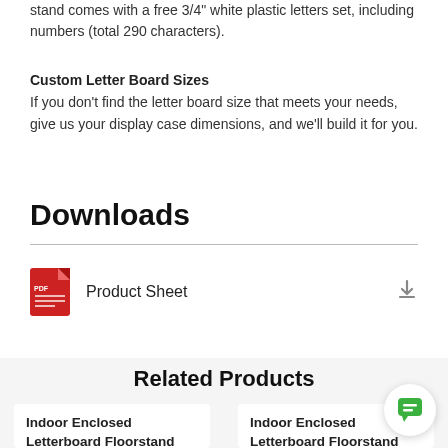stand comes with a free 3/4" white plastic letters set, including numbers (total 290 characters).
Custom Letter Board Sizes
If you don't find the letter board size that meets your needs, give us your display case dimensions, and we'll build it for you.
Downloads
Product Sheet
Related Products
Indoor Enclosed Letterboard Floorstand 18 x 24 | Single Locking
Indoor Enclosed Letterboard Floorstand 18 x 24 | Single Locking